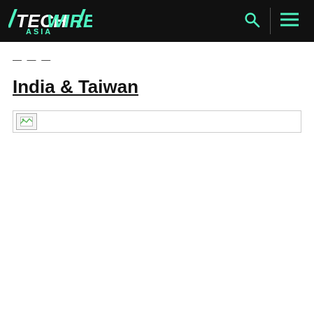TechWire Asia
— — —
India & Taiwan
[Figure (photo): Broken/loading image placeholder below the India & Taiwan title]